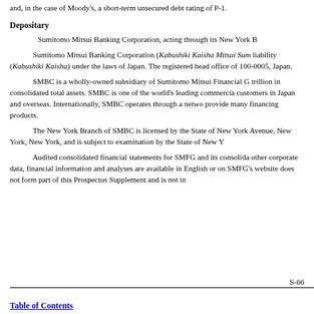Depositary Threshold Rating means, in the case of Fitch, the long-term and, in the case of Moody's, a short-term unsecured debt rating of P-1.
Depositary
Sumitomo Mitsui Banking Corporation, acting through its New York B
Sumitomo Mitsui Banking Corporation (Kabushiki Kaisha Mitsui Sum liability (Kabushiki Kaisha) under the laws of Japan. The registered head office of 100-0005, Japan.
SMBC is a wholly-owned subsidiary of Sumitomo Mitsui Financial G trillion in consolidated total assets. SMBC is one of the world's leading commercia customers in Japan and overseas. Internationally, SMBC operates through a netwo provide many financing products.
The New York Branch of SMBC is licensed by the State of New York Avenue, New York, New York, and is subject to examination by the State of New Y
Audited consolidated financial statements for SMFG and its consolida other corporate data, financial information and analyses are available in English or on SMFG's website does not form part of this Prospectus Supplement and is not in
S-66
Table of Contents